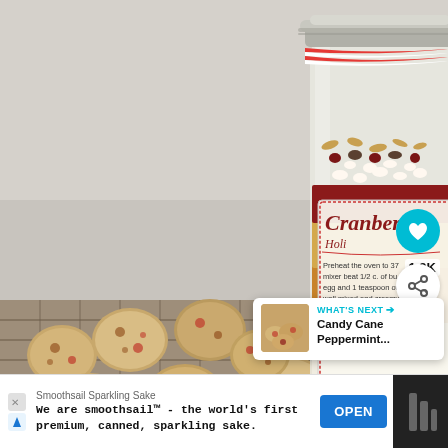[Figure (photo): Photo of cranberry cookies on a wire cooling rack with a mason jar cookie mix in the background. The jar is labeled 'Cranberry' with a handwritten recipe card and tied with red and white striped twine. Several oatmeal cranberry cookies are scattered on the rack.]
[Figure (infographic): WHAT'S NEXT overlay card showing a thumbnail of cookies and text 'Candy Cane Peppermint...']
1.9K
Smoothsail Sparkling Sake
We are smoothsail™ - the world's first premium, canned, sparkling sake.
OPEN